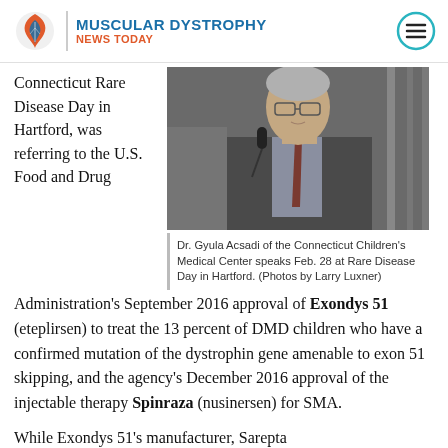MUSCULAR DYSTROPHY NEWS TODAY
Connecticut Rare Disease Day in Hartford, was referring to the U.S. Food and Drug Administration's September 2016 approval of Exondys 51 (eteplirsen) to treat the 13 percent of DMD children who have a confirmed mutation of the dystrophin gene amenable to exon 51 skipping, and the agency's December 2016 approval of the injectable therapy Spinraza (nusinersen) for SMA.
[Figure (photo): Dr. Gyula Acsadi of the Connecticut Children's Medical Center speaks at a podium with a microphone, wearing a suit and tie.]
Dr. Gyula Acsadi of the Connecticut Children's Medical Center speaks Feb. 28 at Rare Disease Day in Hartford. (Photos by Larry Luxner)
While Exondys 51's manufacturer, Sarepta